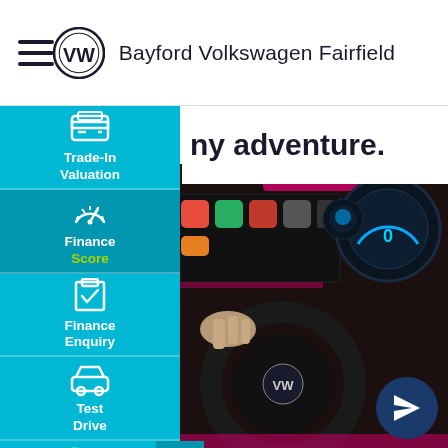Bayford Volkswagen Fairfield
ny adventure.
Trade-In Valuation
Finance Score
Finance Enquiry
Test Drive
Click To Buy
[Figure (photo): Volkswagen car interior showing steering wheel, digital instrument cluster, and touchscreen infotainment system with app icons, hand reaching towards screen]